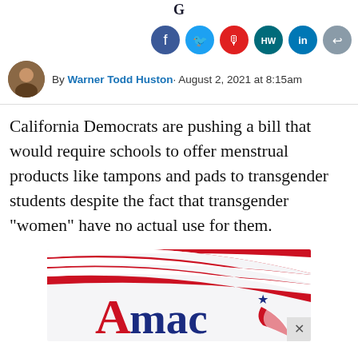[site logo/header partial]
[Figure (other): Social share buttons row: Facebook (dark blue), Twitter (light blue), podcast/microphone (red), HW (dark teal), LinkedIn (blue), share (gray)]
By Warner Todd Huston · August 2, 2021 at 8:15am
California Democrats are pushing a bill that would require schools to offer menstrual products like tampons and pads to transgender students despite the fact that transgender "women" have no actual use for them.
[Figure (logo): AMAC logo - partial view showing red and white swoosh stripes at top and AMAC text in red and blue letters with star and eagle wing graphic]